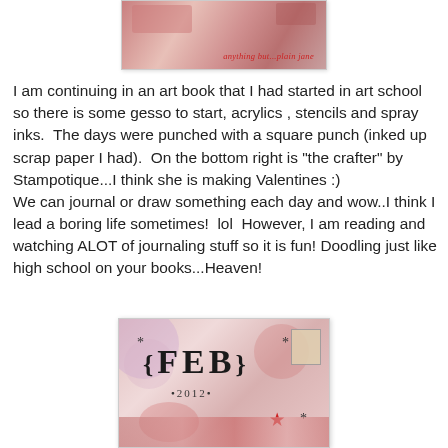[Figure (photo): Top portion of an art journal page with mixed media collage and text reading 'anything but...plain jane' in red cursive at the bottom right]
I am continuing in an art book that I had started in art school so there is some gesso to start, acrylics , stencils and spray inks.  The days were punched with a square punch (inked up scrap paper I had).  On the bottom right is "the crafter" by Stampotique...I think she is making Valentines :)
We can journal or draw something each day and wow..I think I lead a boring life sometimes!  lol  However, I am reading and watching ALOT of journaling stuff so it is fun! Doodling just like high school on your books...Heaven!
[Figure (photo): Art journal page showing mixed media collage in red, pink, and white with text '*{FEB}*' and '•2012•', featuring stamps, stars, and collage elements]